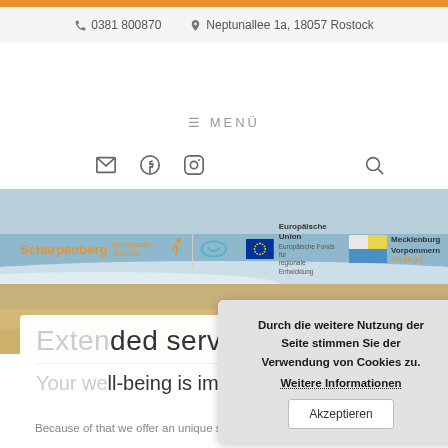📞 0381 800870  📍 Neptunallee 1a, 18057 Rostock
≡ MENÜ
[Figure (logo): Scharpenberg Orthopädie Technik logo with smiley face icon, EU flag with text 'Europäische Union Europäische Fonds für regionale Entwicklung', and Mecklenburg Vorpommern logo]
[Figure (photo): Beach scene with sand and ocean waves]
Extended service
Your well-being is important for us!
Because of that we offer an unique service for you! It
Durch die weitere Nutzung der Seite stimmen Sie der Verwendung von Cookies zu. Weitere Informationen Akzeptieren